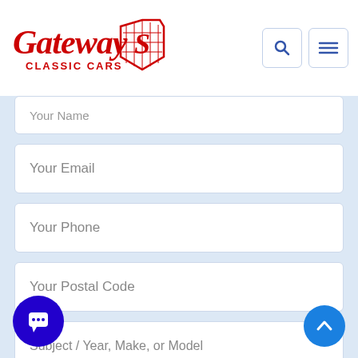Gateway Classic Cars - website header with logo, search and menu icons
Your Name
Your Email
Your Phone
Your Postal Code
Subject / Year, Make, or Model
Your Message